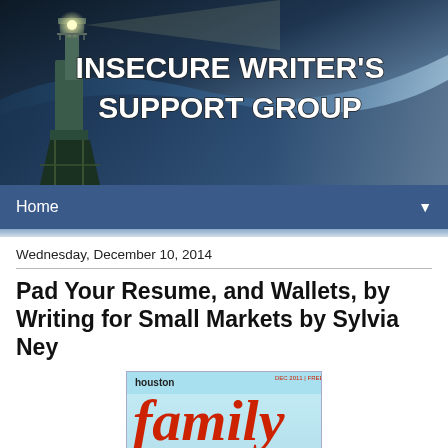[Figure (illustration): Insecure Writer's Support Group banner with lighthouse on dark ocean background and bold white text reading INSECURE WRITER'S SUPPORT GROUP]
Home
Wednesday, December 10, 2014
Pad Your Resume, and Wallets, by Writing for Small Markets by Sylvia Ney
[Figure (photo): Houston Family magazine cover showing the word 'family' in large red italic letters with a person below, tagline reading 'proudly serving parents for 23 years']